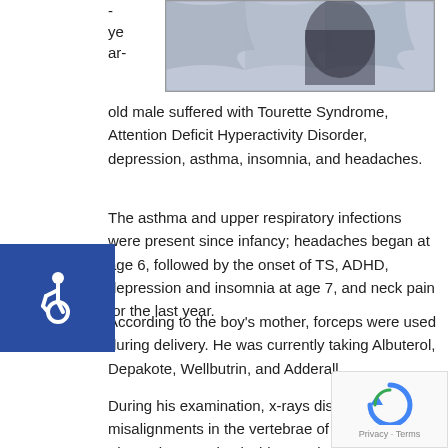[Figure (photo): Puzzle pieces image, partially visible at top of page]
year-old male suffered with Tourette Syndrome, Attention Deficit Hyperactivity Disorder, depression, asthma, insomnia, and headaches.
The asthma and upper respiratory infections were present since infancy; headaches began at age 6, followed by the onset of TS, ADHD, depression and insomnia at age 7, and neck pain for the last year.
According to the boy's mother, forceps were used during delivery. He was currently taking Albuterol, Depakote, Wellbutrin, and Adderall.
During his examination, x-rays displayed misalignments in the vertebrae of his neck. The patient received Chiropractic adjustments to correct and stabilize the injury to his neck.